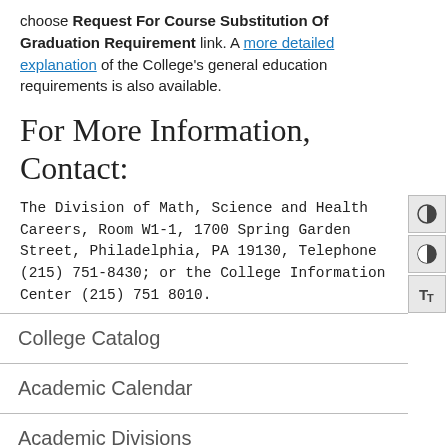choose Request For Course Substitution Of Graduation Requirement link. A more detailed explanation of the College's general education requirements is also available.
For More Information, Contact:
The Division of Math, Science and Health Careers, Room W1-1, 1700 Spring Garden Street, Philadelphia, PA 19130, Telephone (215) 751-8430; or the College Information Center (215) 751 8010.
College Catalog
Academic Calendar
Academic Divisions
Admissions Information
College Costs